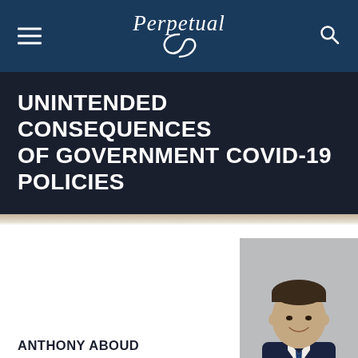Perpetual
UNINTENDED CONSEQUENCES OF GOVERNMENT COVID-19 POLICIES
ANTHONY ABOUD
Portfolio Manager
23/04/2020
[Figure (photo): Professional headshot of Anthony Aboud, a man in a dark suit and tie, smiling, against a grey background]